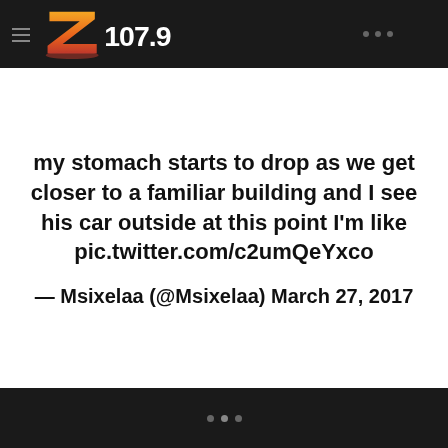Z107.9
my stomach starts to drop as we get closer to a familiar building and I see his car outside at this point I'm like pic.twitter.com/c2umQeYxco
— Msixelaa (@Msixelaa) March 27, 2017
...